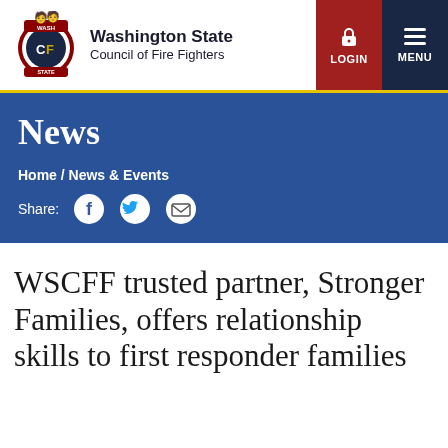[Figure (logo): Washington State Council of Fire Fighters logo with emblem and text]
Washington State Council of Fire Fighters
News
Home / News & Events
Share: [Facebook] [Twitter] [Email]
WSCFF trusted partner, Stronger Families, offers relationship skills to first responder families